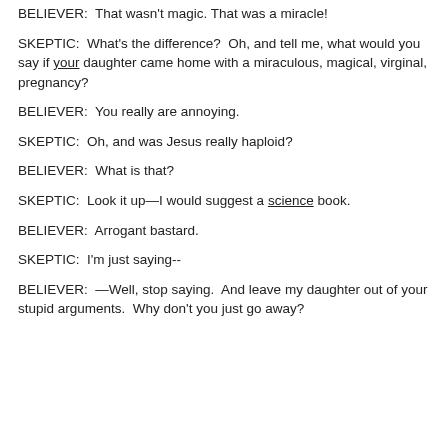BELIEVER:  That wasn't magic. That was a miracle!
SKEPTIC:  What's the difference?  Oh, and tell me, what would you say if your daughter came home with a miraculous, magical, virginal, pregnancy?
BELIEVER:  You really are annoying.
SKEPTIC:  Oh, and was Jesus really haploid?
BELIEVER:  What is that?
SKEPTIC:  Look it up—I would suggest a science book.
BELIEVER:  Arrogant bastard.
SKEPTIC:  I'm just saying--
BELIEVER:  —Well, stop saying.  And leave my daughter out of your stupid arguments.  Why don't you just go away?